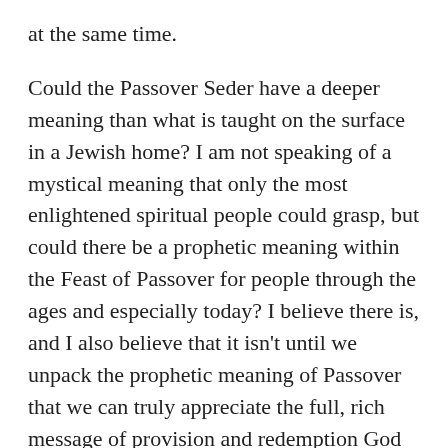at the same time.
Could the Passover Seder have a deeper meaning than what is taught on the surface in a Jewish home? I am not speaking of a mystical meaning that only the most enlightened spiritual people could grasp, but could there be a prophetic meaning within the Feast of Passover for people through the ages and especially today? I believe there is, and I also believe that it isn't until we unpack the prophetic meaning of Passover that we can truly appreciate the full, rich message of provision and redemption God is trying to share with us throughout the entire Bible.
Our God is a God of order (Deuteronomy 7:9 [L];